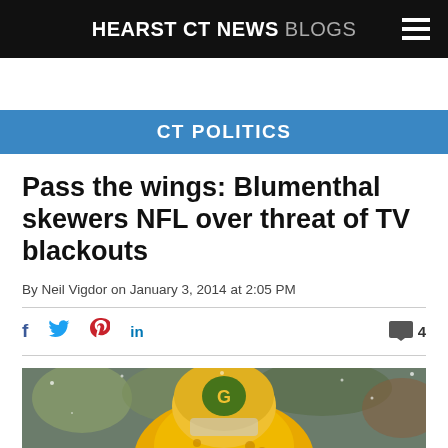HEARST CT NEWS BLOGS
CT POLITICS
Pass the wings: Blumenthal skewers NFL over threat of TV blackouts
By Neil Vigdor on January 3, 2014 at 2:05 PM
[Figure (photo): Green Bay Packers player in yellow and green jersey viewed from behind, crowd in background, snowy outdoor game]